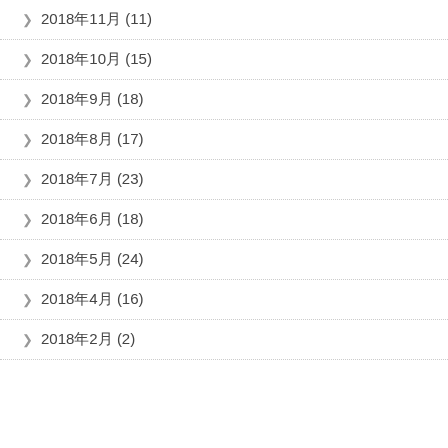2018年11月 (11)
2018年10月 (15)
2018年9月 (18)
2018年8月 (17)
2018年7月 (23)
2018年6月 (18)
2018年5月 (24)
2018年4月 (16)
2018年2月 (2)